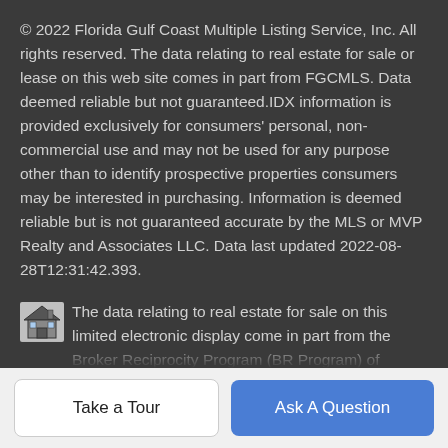© 2022 Florida Gulf Coast Multiple Listing Service, Inc. All rights reserved. The data relating to real estate for sale or lease on this web site comes in part from FGCMLS. Data deemed reliable but not guaranteed.IDX information is provided exclusively for consumers' personal, non-commercial use and may not be used for any purpose other than to identify prospective properties consumers may be interested in purchasing. Information is deemed reliable but is not guaranteed accurate by the MLS or MVP Realty and Associates LLC. Data last updated 2022-08-28T12:31:42.393.
The data relating to real estate for sale on this limited electronic display come in part from the Broker Reciprocity Program (BR Program) of M.L.S. of Naples, Inc. Properties listed with brokerage firms other than MVP Realty and Associates LLC are marked with the BR Program Icon or the BR House Icon and detailed information about them includes the name of the Listing
Take a Tour | Ask A Question